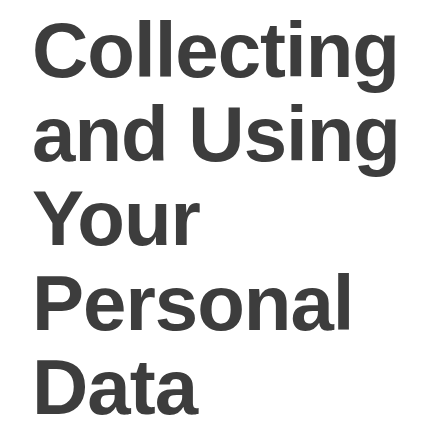Collecting and Using Your Personal Data